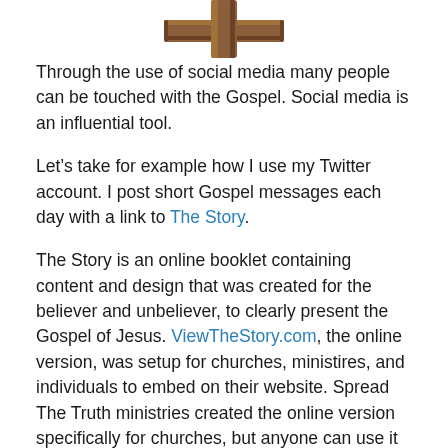[Figure (illustration): Partial image of a wooden cross at the top of the page]
Through the use of social media many people can be touched with the Gospel. Social media is an influential tool.
Let’s take for example how I use my Twitter account. I post short Gospel messages each day with a link to The Story.
The Story is an online booklet containing content and design that was created for the believer and unbeliever, to clearly present the Gospel of Jesus. ViewTheStory.com, the online version, was setup for churches, ministires, and individuals to embed on their website. Spread The Truth ministries created the online version specifically for churches, but anyone can use it as a tool to share the Good News.